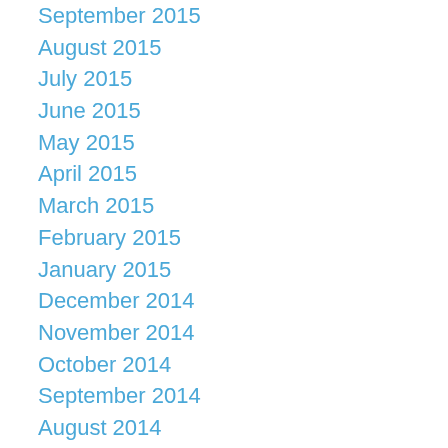September 2015
August 2015
July 2015
June 2015
May 2015
April 2015
March 2015
February 2015
January 2015
December 2014
November 2014
October 2014
September 2014
August 2014
July 2014
June 2014
May 2014
April 2014
March 2014
February 2014